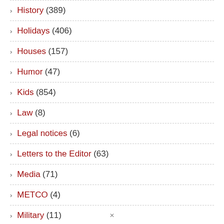History (389)
Holidays (406)
Houses (157)
Humor (47)
Kids (854)
Law (8)
Legal notices (6)
Letters to the Editor (63)
Media (71)
METCO (4)
Military (11)
Morses Pond (108)
Music (571)